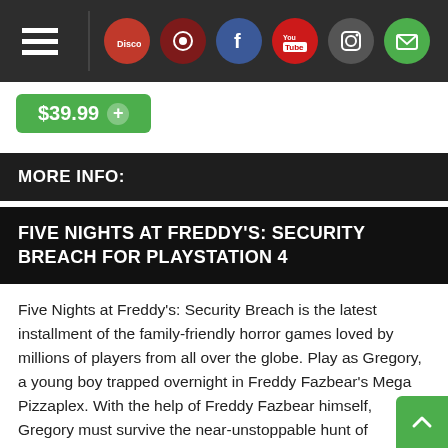$39.99
MORE INFO:
FIVE NIGHTS AT FREDDY'S: SECURITY BREACH FOR PLAYSTATION 4
Five Nights at Freddy's: Security Breach is the latest installment of the family-friendly horror games loved by millions of players from all over the globe. Play as Gregory, a young boy trapped overnight in Freddy Fazbear's Mega Pizzaplex. With the help of Freddy Fazbear himself, Gregory must survive the near-unstoppable hunt of reimagined Five Nights at Freddy's characters - as well as new, horrific threats.
FEATURES
Once nighttime protocols are initiated, the animatronics at Freddy Fazbear's Mega Pizzaplex will relentlessly pursue all intruders. Glamrock Chica, Roxanne Wolf, Montgomery Gator, and the